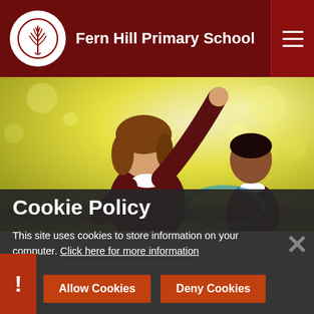Fern Hill Primary School
[Figure (photo): Children playing outdoors in school uniforms; one girl with arm raised, another child visible in background with hula hoop, sunny warm yellow-green bokeh background]
Cookie Policy
This site uses cookies to store information on your computer. Click here for more information